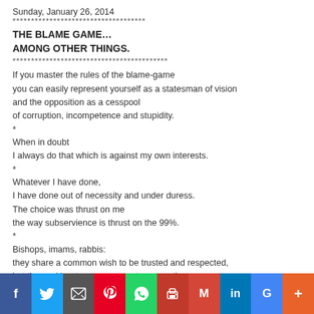Sunday, January 26, 2014
************************************
THE BLAME GAME…
AMONG OTHER THINGS.
******************************************
If you master the rules of the blame-game
you can easily represent yourself as a statesman of vision
and the opposition as a cesspool
of corruption, incompetence and stupidity.
*
When in doubt
I always do that which is against my own interests.
*
Whatever I have done,
I have done out of necessity and under duress.
The choice was thrust on me
the way subservience is thrust on the 99%.
*
Bishops, imams, rabbis:
they share a common wish to be trusted and respected,
but they neither trust nor respect one another.
*
If a single man can be wrong,
so can two or two thousand or two million,
especially when they speak of
the Incomprehensible and the Unknowable.
*